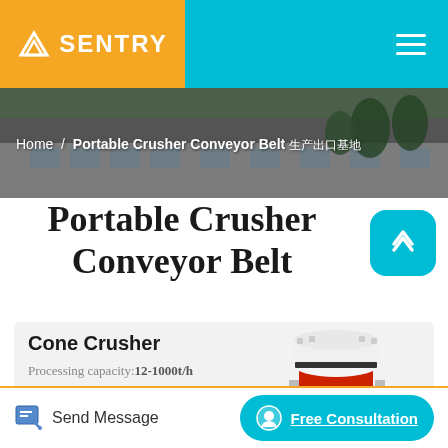SENTRY
Home / Portable Crusher Conveyor Belt
Portable Crusher Conveyor Belt
[Figure (photo): Cone Crusher machine - industrial equipment with white body, red accents, and black wheels]
Cone Crusher
Processing capacity:12-1000t/h
Max Feeding Size:35-300mm
Send Message
Free Consultation